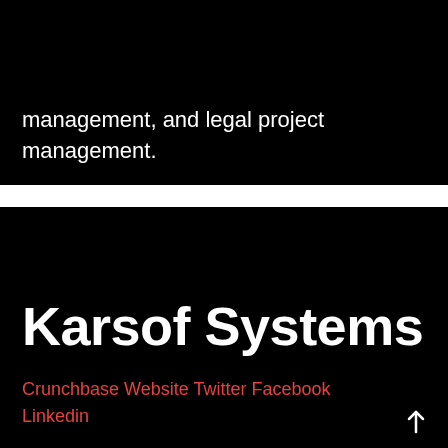management, and legal project management.
Karsof Systems
Crunchbase Website Twitter Facebook Linkedin
Karsof Systems is a US-based ICT security